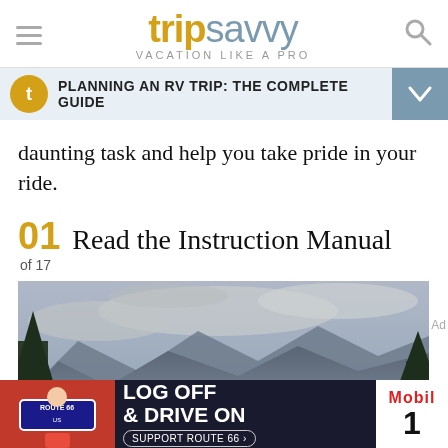tripsavvy — VACATION LIKE A PRO
PLANNING AN RV TRIP: THE COMPLETE GUIDE
daunting task and help you take pride in your ride.
01  Read the Instruction Manual
of 17
[Figure (photo): An RV / caravan parked in front of dramatic mountain scenery with cloudy sky and trees in the foreground]
[Figure (infographic): Advertisement banner: LOG OFF & DRIVE ON with Mobil 1 branding and Support Route 66 button]